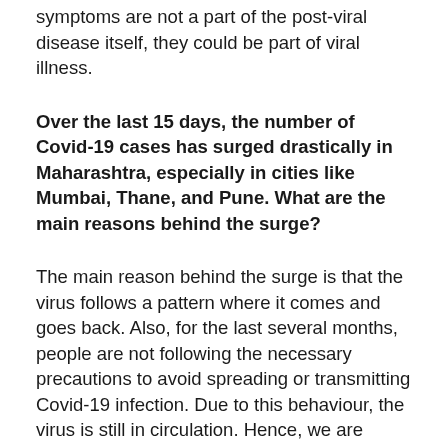symptoms are not a part of the post-viral disease itself, they could be part of viral illness.
Over the last 15 days, the number of Covid-19 cases has surged drastically in Maharashtra, especially in cities like Mumbai, Thane, and Pune. What are the main reasons behind the surge?
The main reason behind the surge is that the virus follows a pattern where it comes and goes back. Also, for the last several months, people are not following the necessary precautions to avoid spreading or transmitting Covid-19 infection. Due to this behaviour, the virus is still in circulation. Hence, we are seeing a rise in the number of